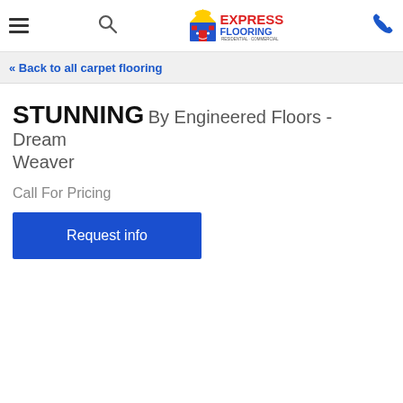[Figure (logo): Express Flooring logo with house icon and text RESIDENTIAL · COMMERCIAL]
« Back to all carpet flooring
STUNNING By Engineered Floors - Dream Weaver
Call For Pricing
Request info